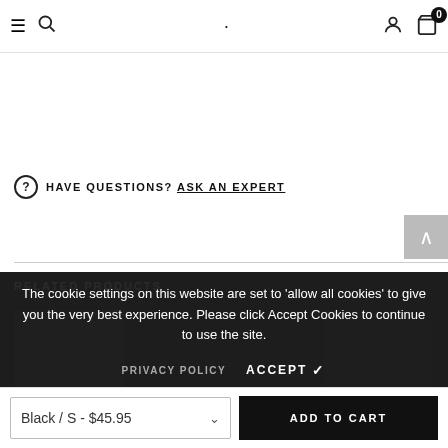Navigation bar with hamburger menu, search, dot logo, user icon, cart (0)
HAVE QUESTIONS? ASK AN EXPERT
RELATED PRODUCTS
The cookie settings on this website are set to 'allow all cookies' to give you the very best experience. Please click Accept Cookies to continue to use the site.
PRIVACY POLICY   ACCEPT ✓
Black / S - $45.95   ADD TO CART